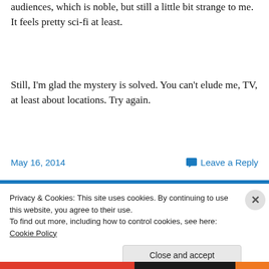audiences, which is noble, but still a little bit strange to me. It feels pretty sci-fi at least.
Still, I'm glad the mystery is solved. You can't elude me, TV, at least about locations. Try again.
May 16, 2014
Leave a Reply
Privacy & Cookies: This site uses cookies. By continuing to use this website, you agree to their use.
To find out more, including how to control cookies, see here: Cookie Policy
Close and accept